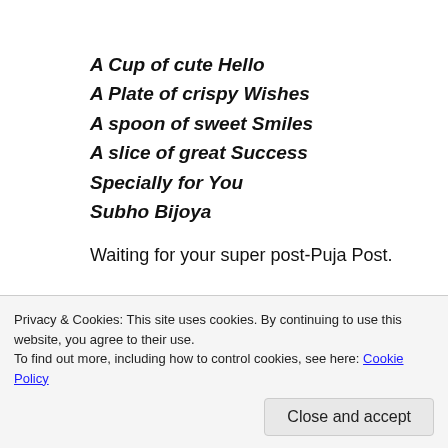A Cup of cute Hello
A Plate of crispy Wishes
A spoon of sweet Smiles
A slice of great Success
Specially for You
Subho Bijoya
Waiting for your super post-Puja Post.
★ Like
Reply
Privacy & Cookies: This site uses cookies. By continuing to use this website, you agree to their use.
To find out more, including how to control cookies, see here: Cookie Policy
Close and accept